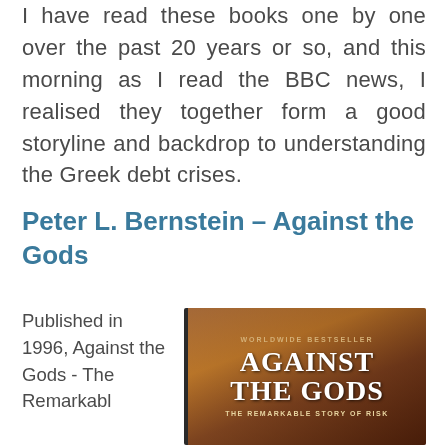I have read these books one by one over the past 20 years or so, and this morning as I read the BBC news, I realised they together form a good storyline and backdrop to understanding the Greek debt crises.
Peter L. Bernstein – Against the Gods
Published in 1996, Against the Gods - The Remarkabl
[Figure (photo): Book cover of 'Against the Gods: The Remarkable Story of Risk' by Peter L. Bernstein. Dark brown/amber tones with a sailing ship image. Text: WORLDWIDE BESTSELLER at top, AGAINST THE GODS in large white serif font, THE REMARKABLE STORY OF RISK in smaller text below.]